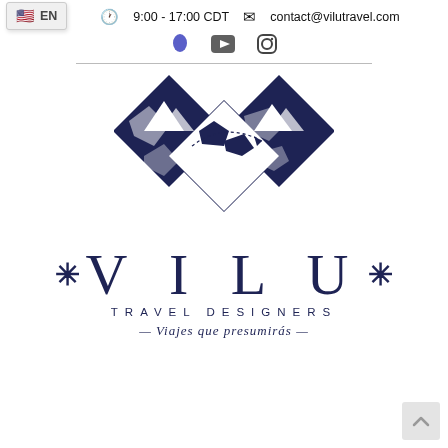9:00 - 17:00 CDT | contact@vilutravel.com | EN
[Figure (logo): Vilu Travel Designers logo: two overlapping diamond shapes containing a world map silhouette in dark navy blue]
* V I L U *
TRAVEL DESIGNERS
— Viajes que presumirás —